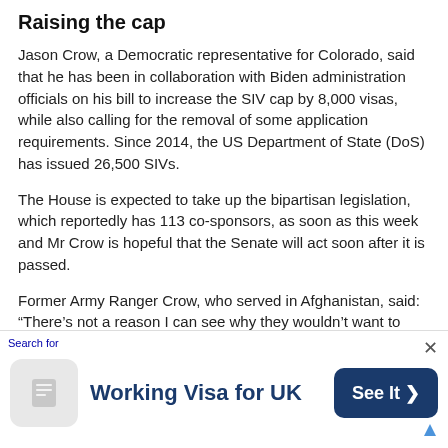Raising the cap
Jason Crow, a Democratic representative for Colorado, said that he has been in collaboration with Biden administration officials on his bill to increase the SIV cap by 8,000 visas, while also calling for the removal of some application requirements. Since 2014, the US Department of State (DoS) has issued 26,500 SIVs.
The House is expected to take up the bipartisan legislation, which reportedly has 113 co-sponsors, as soon as this week and Mr Crow is hopeful that the Senate will act soon after it is passed.
Former Army Ranger Crow, who served in Afghanistan, said: “There’s not a reason I can see why they wouldn’t want to take this up expeditiously and get it done before the August work period begins so we can send it to the
[Figure (other): Advertisement banner: Search for Working Visa for UK with See It button and close X button]